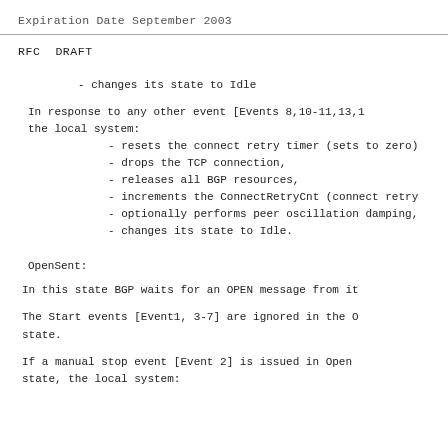Expiration Date September 2003
RFC DRAFT
- changes its state to Idle
In response to any other event [Events 8,10-11,13,1 the local system:
- resets the connect retry timer (sets to zero)
- drops the TCP connection,
- releases all BGP resources,
- increments the ConnectRetryCnt (connect retry
- optionally performs peer oscillation damping,
- changes its state to Idle.
OpenSent:
In this state BGP waits for an OPEN message from it
The Start events [Event1, 3-7] are ignored in the O state.
If a manual stop event [Event 2] is issued in Open state, the local system: